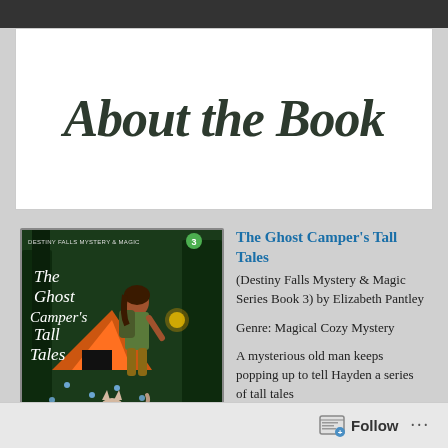About the Book
[Figure (illustration): Book cover of 'The Ghost Camper's Tall Tales' - Destiny Falls Mystery & Magic Series Book 3 by Elizabeth Pantley. Shows a woman with a backpack near a tent in a forest, with a cat in the foreground and glowing firefly-like lights.]
The Ghost Camper's Tall Tales (Destiny Falls Mystery & Magic Series Book 3) by Elizabeth Pantley
Genre: Magical Cozy Mystery
A mysterious old man keeps popping up to tell Hayden a series of tall tales